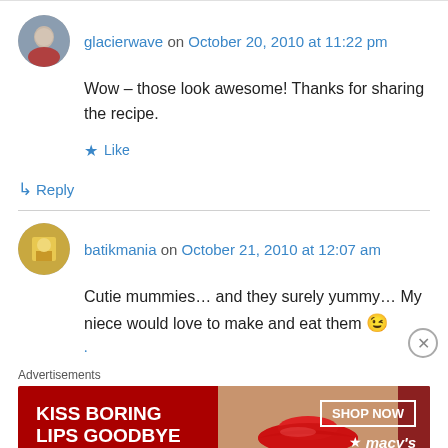glacierwave on October 20, 2010 at 11:22 pm
Wow – those look awesome! Thanks for sharing the recipe.
Like
Reply
batikmania on October 21, 2010 at 12:07 am
Cutie mummies… and they surely yummy… My niece would love to make and eat them 😉
Advertisements
[Figure (illustration): Macy's advertisement banner: red background with woman's face/lips, text 'KISS BORING LIPS GOODBYE', 'SHOP NOW' button, Macy's star logo]